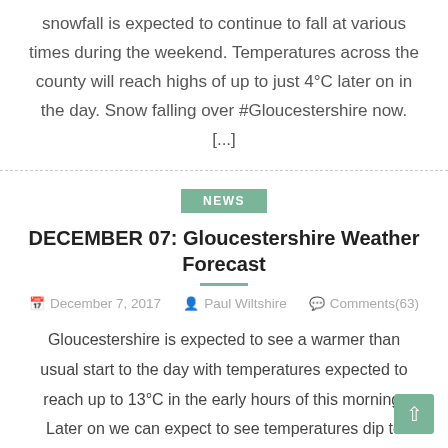snowfall is expected to continue to fall at various times during the weekend. Temperatures across the county will reach highs of up to just 4°C later on in the day. Snow falling over #Gloucestershire now. [...]
NEWS
DECEMBER 07: Gloucestershire Weather Forecast
December 7, 2017   Paul Wiltshire   Comments(63)
Gloucestershire is expected to see a warmer than usual start to the day with temperatures expected to reach up to 13°C in the early hours of this morning. Later on we can expect to see temperatures dip to lows of 3°C in the later half of the day. This will be accompanied by an increase [...]